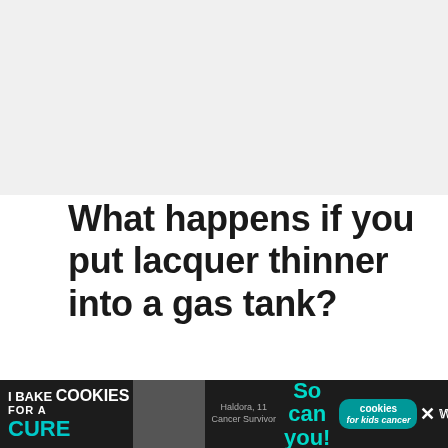[Figure (other): Gray placeholder image area at the top of the page]
What happens if you put lacquer thinner into a gas tank?
Suppose you put lacquer thinner in a gas tank. In that case, you risk causing serious harm to your engine due to rust, corrosion, and eventual deterioration of the interior of t...
[Figure (other): Advertisement banner at the bottom: 'I Bake COOKIES For A CURE - Haldora, 11 Cancer Survivor - So can you! cookies for kids cancer']